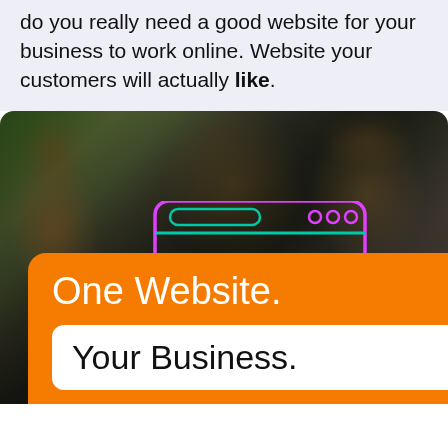do you really need a good website for your business to work online. Website your customers will actually like.
[Figure (illustration): Dark photo background of smiling people with overlaid neon browser window icons (pink/magenta and teal outlines), an orange rounded card with white text 'One Website.' and a white inner card with dark text 'Your Business.' Partially visible teal text 'SIT' on the right edge.]